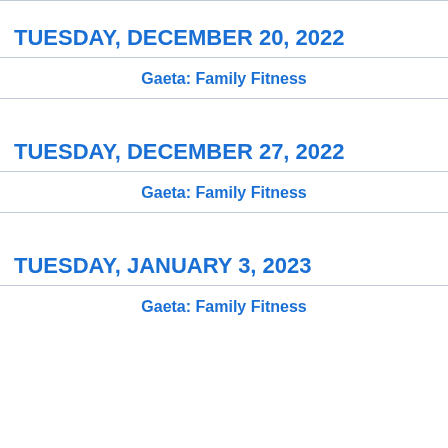TUESDAY, DECEMBER 20, 2022
Gaeta: Family Fitness
TUESDAY, DECEMBER 27, 2022
Gaeta: Family Fitness
TUESDAY, JANUARY 3, 2023
Gaeta: Family Fitness